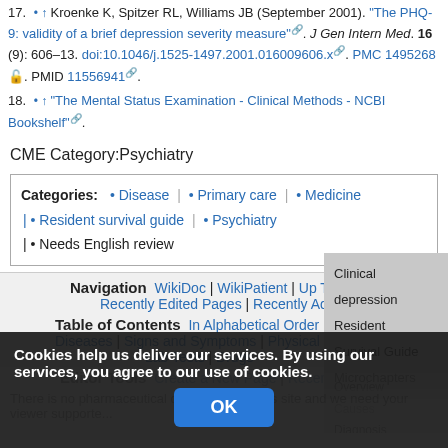17. ↑ Kroenke K, Spitzer RL, Williams JB (September 2001). "The PHQ-9: validity of a brief depression severity measure". J Gen Intern Med. 16 (9): 606–13. doi:10.1046/j.1525-1497.2001.016009606.x. PMC 1495268. PMID 11556941.
18. ↑ "The Mental Status Examination - Clinical Methods - NCBI Bookshelf".
CME Category:Psychiatry
| Categories |
| --- |
| • Disease | • Primary care | • Medicine | • Resident survival guide | • Psychiatry | • Needs English review |
Navigation WikiDoc | WikiPatient | Up To Recently Edited Pages | Recently Adde...
Table of Contents In Alphabetical Order | Diseases | Signs and Symptoms | Physical Lab Tests | Drugs
Editor Tools Create a New Page | Recen...
Clinical depression Resident Survival Guide Microchapters
Overview Causes Diagnosis Treatment
Cookies help us deliver our services. By using our services, you agree to our use of cookies.
OK
There is no pharmaceutical device indus... this site and we need your viewer supporte...